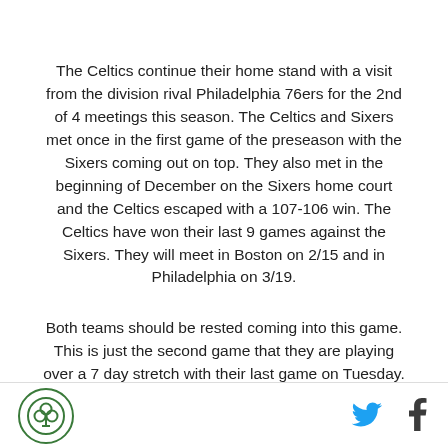The Celtics continue their home stand with a visit from the division rival Philadelphia 76ers for the 2nd of 4 meetings this season. The Celtics and Sixers met once in the first game of the preseason with the Sixers coming out on top. They also met in the beginning of December on the Sixers home court and the Celtics escaped with a 107-106 win. The Celtics have won their last 9 games against the Sixers. They will meet in Boston on 2/15 and in Philadelphia on 3/19.
Both teams should be rested coming into this game. This is just the second game that they are playing over a 7 day stretch with their last game on Tuesday. The Sixers have also been off since Tuesday when they pulled out a
[Figure (logo): Green circular logo with a shamrock/clover leaf icon in the center, outlined in green]
[Figure (logo): Twitter bird icon in blue]
[Figure (logo): Facebook f icon in dark gray]